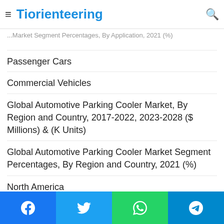Tiorienteering
...Market Segment Percentages, By Application, 2021 (%)
Passenger Cars
Commercial Vehicles
Global Automotive Parking Cooler Market, By Region and Country, 2017-2022, 2023-2028 ($ Millions) & (K Units)
Global Automotive Parking Cooler Market Segment Percentages, By Region and Country, 2021 (%)
North America